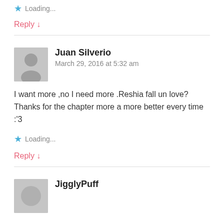Loading...
Reply ↓
Juan Silverio
March 29, 2016 at 5:32 am
I want more ,no I need more .Reshia fall un love?
Thanks for the chapter more a more better every time :'3
Loading...
Reply ↓
JigglyPuff